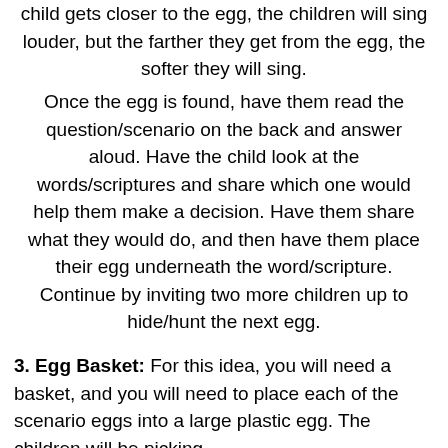child gets closer to the egg, the children will sing louder, but the farther they get from the egg, the softer they will sing.
Once the egg is found, have them read the question/scenario on the back and answer aloud. Have the child look at the words/scriptures and share which one would help them make a decision. Have them share what they would do, and then have them place their egg underneath the word/scripture. Continue by inviting two more children up to hide/hunt the next egg.
3. Egg Basket: For this idea, you will need a basket, and you will need to place each of the scenario eggs into a large plastic egg. The children will be picking